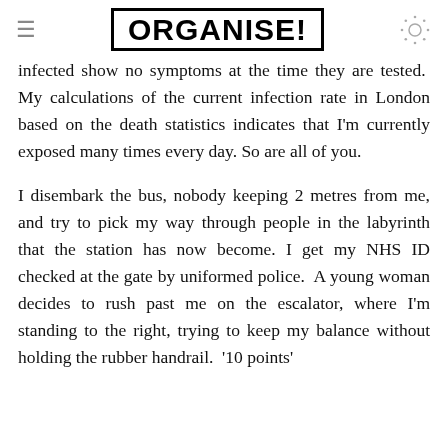ORGANISE!
infected show no symptoms at the time they are tested.  My calculations of the current infection rate in London based on the death statistics indicates that I'm currently exposed many times every day. So are all of you.
I disembark the bus, nobody keeping 2 metres from me, and try to pick my way through people in the labyrinth that the station has now become. I get my NHS ID checked at the gate by uniformed police.  A young woman decides to rush past me on the escalator, where I'm standing to the right, trying to keep my balance without holding the rubber handrail.  '10 points'